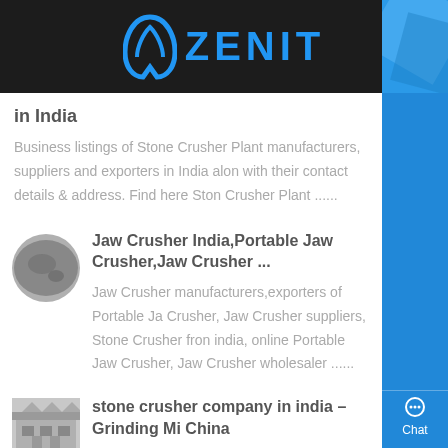ZENIT
in India
Business listings of Stone Crusher Plant manufacturers, suppliers and exporters in India along with their contact details & address. Find here Stone Crusher Plant ......
Jaw Crusher India,Portable Jaw Crusher,Jaw Crusher ...
Jaw Crusher manufacturers,exporters of Portable Jaw Crusher, Jaw Crusher suppliers, Stone Crusher from india, online Portable Jaw Crusher, Jaw Crusher wholesaler ......
stone crusher company in india – Grinding Mi... China